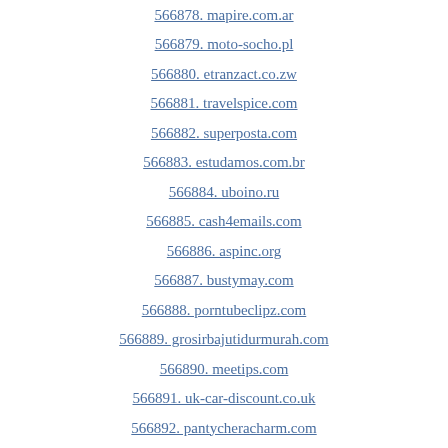566878. mapire.com.ar
566879. moto-socho.pl
566880. etranzact.co.zw
566881. travelspice.com
566882. superposta.com
566883. estudamos.com.br
566884. uboino.ru
566885. cash4emails.com
566886. aspinc.org
566887. bustymay.com
566888. porntubeclipz.com
566889. grosirbajutidurmurah.com
566890. meetips.com
566891. uk-car-discount.co.uk
566892. pantycheracharm.com